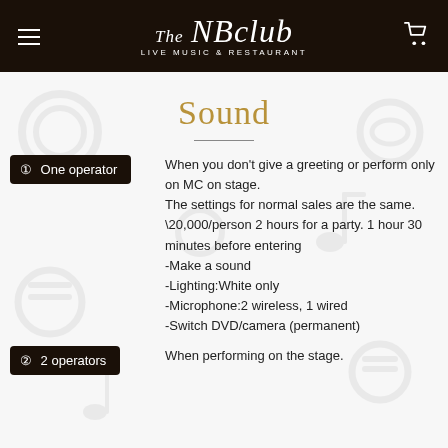The NB club LIVE MUSIC & RESTAURANT
Sound
① One operator
When you don't give a greeting or perform only on MC on stage.
The settings for normal sales are the same.
\20,000/person 2 hours for a party. 1 hour 30 minutes before entering
-Make a sound
-Lighting:White only
-Microphone:2 wireless, 1 wired
-Switch DVD/camera (permanent)
② 2 operators
When performing on the stage.